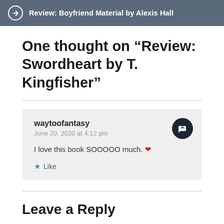Review: Boyfriend Material by Alexis Hall
One thought on “Review: Swordheart by T. Kingfisher”
waytoofantasy
June 20, 2020 at 4:12 pm

I love this book SOOOOO much. ❤️

Like
Leave a Reply